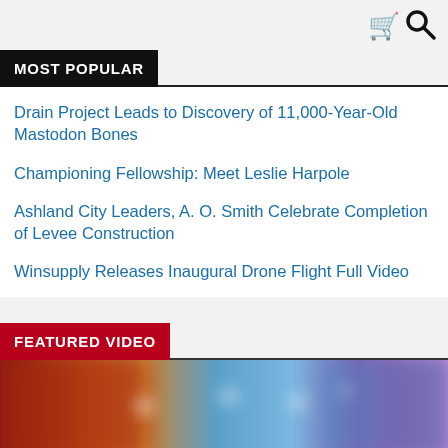MOST POPULAR
Drain Project Leads to Discovery of 11,000-Year-Old Mastodon Bones
Championing Fellowship: Meet Leslie Harpole
Ashland City Leaders, A. O. Smith Celebrate Completion of Levee Construction
Winsupply Releases Inaugural Drone Flight Full Video
FEATURED VIDEO
[Figure (photo): Blurred American flag image used as featured video thumbnail]